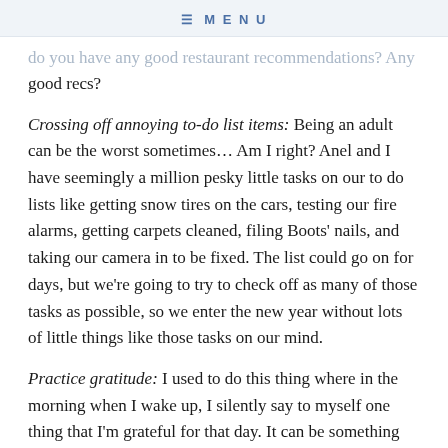≡ MENU
good recs?
Crossing off annoying to-do list items: Being an adult can be the worst sometimes… Am I right? Anel and I have seemingly a million pesky little tasks on our to do lists like getting snow tires on the cars, testing our fire alarms, getting carpets cleaned, filing Boots' nails, and taking our camera in to be fixed. The list could go on for days, but we're going to try to check off as many of those tasks as possible, so we enter the new year without lots of little things like those tasks on our mind.
Practice gratitude: I used to do this thing where in the morning when I wake up, I silently say to myself one thing that I'm grateful for that day. It can be something small like getting a good night sleep or something big like having a warm roof over my head on a cold day. It starts the day with a positive thought which can create a ripple effect on my attitude all day